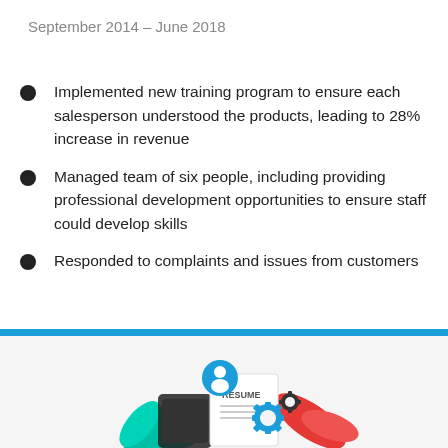September 2014 – June 2018
Implemented new training program to ensure each salesperson understood the products, leading to 28% increase in revenue
Managed team of six people, including providing professional development opportunities to ensure staff could develop skills
Responded to complaints and issues from customers
[Figure (illustration): Resume illustration with gears, leaves, person icon and a document labeled RESUME]